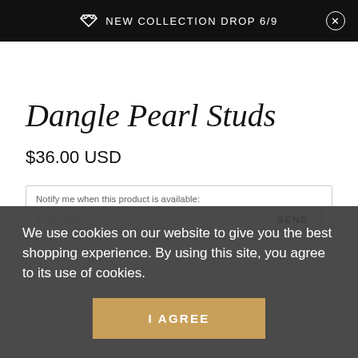NEW COLLECTION DROP 6/9
Dangle Pearl Studs
$36.00 USD
Notify me when this product is available:
We use cookies on our website to give you the best shopping experience. By using this site, you agree to its use of cookies.